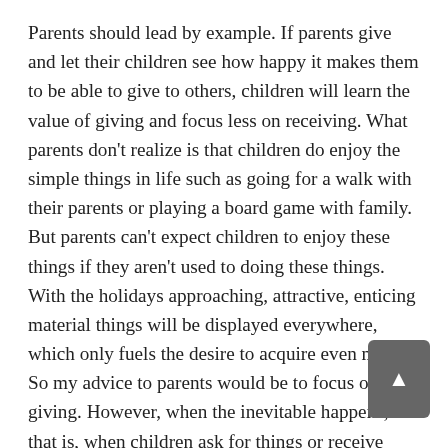Parents should lead by example. If parents give and let their children see how happy it makes them to be able to give to others, children will learn the value of giving and focus less on receiving. What parents don't realize is that children do enjoy the simple things in life such as going for a walk with their parents or playing a board game with family. But parents can't expect children to enjoy these things if they aren't used to doing these things. With the holidays approaching, attractive, enticing material things will be displayed everywhere, which only fuels the desire to acquire even more. So my advice to parents would be to focus on giving. However, when the inevitable happens, that is, when children ask for things or receive presents, redirect their attention away from the fact that they just received the most popular toy or a very expensive cell phone, and help them direct their attention towards feeling genuinely appreciative and grateful for the people and things in their lives.